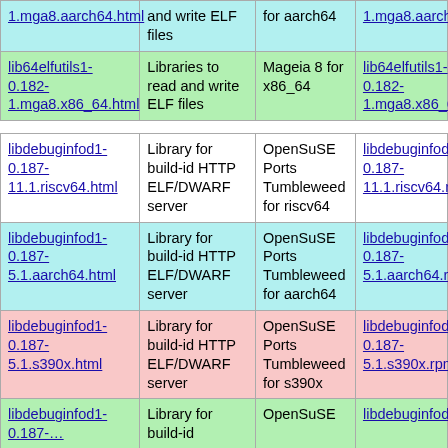| Package | Description | Platform | Download |
| --- | --- | --- | --- |
| lib64elfutils1-0.182-1.mga8.aarch64.html | and write ELF files | for aarch64 | lib64elfutils1-0.182-1.mga8.aarch64.rpm |
| lib64elfutils1-0.182-1.mga8.x86_64.html | Libraries to read and write ELF files | Mageia 8 for x86_64 | lib64elfutils1-0.182-1.mga8.x86_64.rpm |
| libdebuginfod1-0.187-11.1.riscv64.html | Library for build-id HTTP ELF/DWARF server | OpenSuSE Ports Tumbleweed for riscv64 | libdebuginfod1-0.187-11.1.riscv64.rpm |
| libdebuginfod1-0.187-5.1.aarch64.html | Library for build-id HTTP ELF/DWARF server | OpenSuSE Ports Tumbleweed for aarch64 | libdebuginfod1-0.187-5.1.aarch64.rpm |
| libdebuginfod1-0.187-5.1.s390x.html | Library for build-id HTTP ELF/DWARF server | OpenSuSE Ports Tumbleweed for s390x | libdebuginfod1-0.187-5.1.s390x.rpm |
| libdebuginfod1-0.187-... | Library for build-id | OpenSuSE | libdebuginfod... |